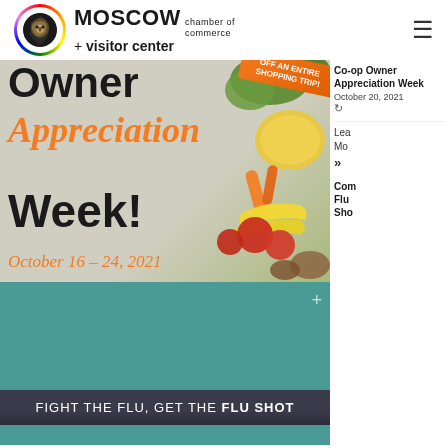[Figure (logo): Moscow Chamber of Commerce + Visitor Center logo with colorful circular emblem]
[Figure (photo): Owner Appreciation Week promotional banner with vegetables, October 16-24, 2021, orange ribbon saying OFF AN ENTIRE SHOPPING TRIP!]
Co-op Owner Appreciation Week October 20, 2021
Learn More »
[Figure (photo): FIGHT THE FLU, GET THE FLU SHOT promotional image on teal background]
Community Flu Shot